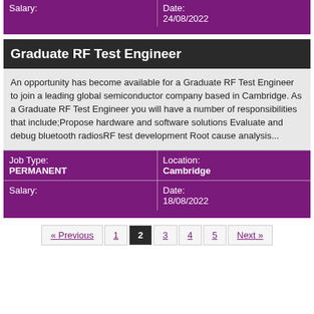| Salary: | Date: 24/08/2022 |
| --- | --- |
Graduate RF Test Engineer
An opportunity has become available for a Graduate RF Test Engineer to join a leading global semiconductor company based in Cambridge. As a Graduate RF Test Engineer you will have a number of responsibilities that include;Propose hardware and software solutions Evaluate and debug bluetooth radiosRF test development Root cause analysis...
| Job Type: PERMANENT | Location: Cambridge |
| --- | --- |
| Salary: | Date: 18/08/2022 |
« Previous  1  2  3  4  5  Next »